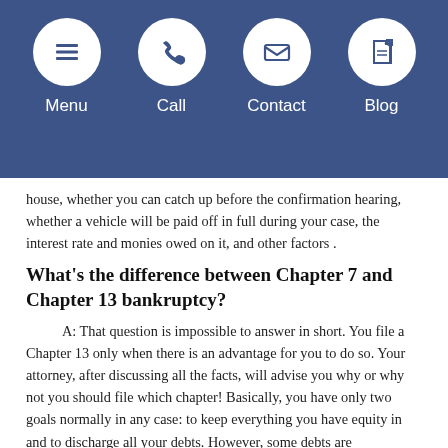Menu | Call | Contact | Blog
house, whether you can catch up before the confirmation hearing, whether a vehicle will be paid off in full during your case, the interest rate and monies owed on it, and other factors .
What's the difference between Chapter 7 and Chapter 13 bankruptcy?
A: That question is impossible to answer in short. You file a Chapter 13 only when there is an advantage for you to do so. Your attorney, after discussing all the facts, will advise you why or why not you should file which chapter! Basically, you have only two goals normally in any case: to keep everything you have equity in and to discharge all your debts. However, some debts are dischargeable in a Chapter 13 but not in a Chapter 7. You may have assets to protect with a Chapter 13 which may not be protected in a Chapter 7. You may not qualify to file one or the other because of prior cases or the amount of your debts! In short, after reviewing the facts of your case, Richard D. Granvold will advise you why you should file either a Chapter 7 or Chapter 13 and the reasons for that specific Chapter. He has had many clients who already filed a Chapter